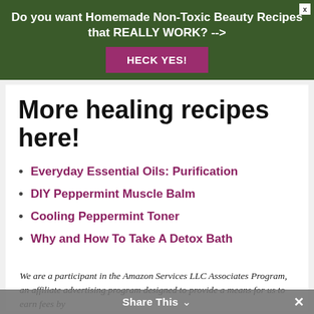Do you want Homemade Non-Toxic Beauty Recipes that REALLY WORK? -->
HECK YES!
More healing recipes here!
Everyday Essential Oils: Purification
DIY Peppermint Muscle Balm
Cooling Peppermint Toner
Why and How To Take A Detox Bath
We are a participant in the Amazon Services LLC Associates Program, an affiliate advertising program designed to provide a means for us to earn fees by
Share This